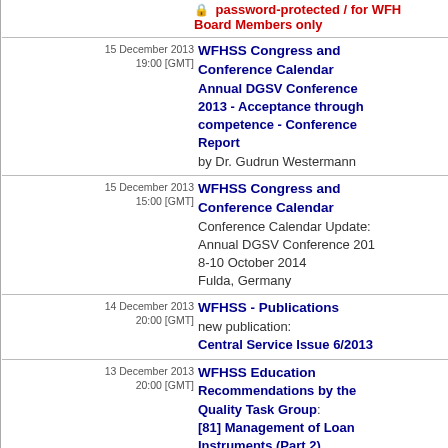password-protected / for WFH Board Members only
15 December 2013 19:00 [GMT] WFHSS Congress and Conference Calendar - Annual DGSV Conference 2013 - Acceptance through competence - Conference Report by Dr. Gudrun Westermann
15 December 2013 15:00 [GMT] WFHSS Congress and Conference Calendar - Conference Calendar Update: Annual DGSV Conference 2014 8-10 October 2014 Fulda, Germany
14 December 2013 20:00 [GMT] WFHSS - Publications new publication: Central Service Issue 6/2013
13 December 2013 20:00 [GMT] WFHSS Education Recommendations by the Quality Task Group: [81] Management of Loan Instruments (Part 2)
12 December 2013 12:00 [GMT] WFHSS - Publications new publication: Central Service Issue 5/2013
11 December 2013 08:00 [GMT] WFHSS Congress and Conference Calendar